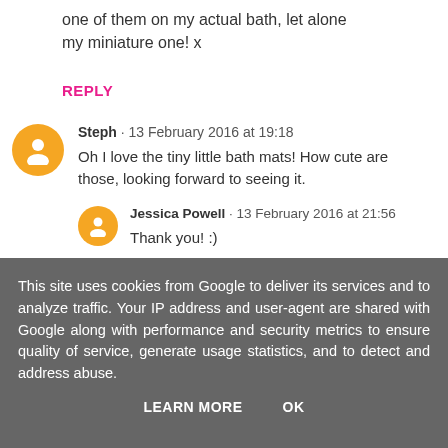one of them on my actual bath, let alone my miniature one! x
REPLY
Steph · 13 February 2016 at 19:18
Oh I love the tiny little bath mats! How cute are those, looking forward to seeing it.
Jessica Powell · 13 February 2016 at 21:56
Thank you! :)
REPLY
This site uses cookies from Google to deliver its services and to analyze traffic. Your IP address and user-agent are shared with Google along with performance and security metrics to ensure quality of service, generate usage statistics, and to detect and address abuse.
LEARN MORE  OK